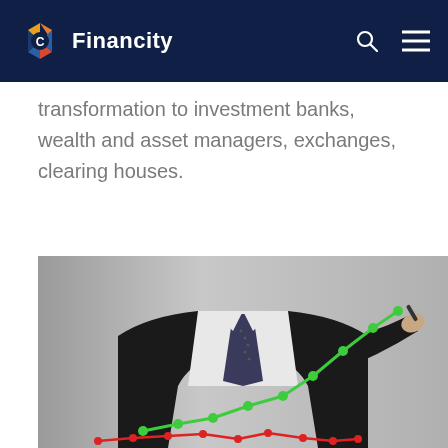Financity
transformation to investment banks, wealth and asset managers, exchanges, clearing houses.
[Figure (photo): A businessman in a dark suit holding a marker, drawing an upward-trending green line chart. A red line chart is visible in the lower portion of the image. The background is gray.]